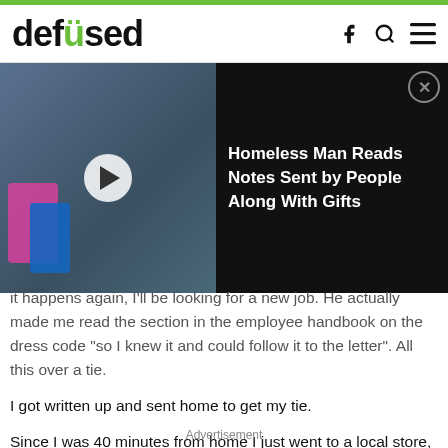defused
[Figure (screenshot): Video thumbnail showing a person in a store with colorful products, with a play button overlay. A black recommendation overlay on the right shows: 'Homeless Man Reads Notes Sent by People Along With Gifts' with an X close button.]
it happens again, I'll be looking for a new job. He actually made me read the section in the employee handbook on the dress code "so I knew it and could follow it to the letter". All this over a tie.
I got written up and sent home to get my tie.
Since I was 40 minutes from home I just went to a local store, bought a cheap tie, and hung out at a cafe for an hour.
Advertisement